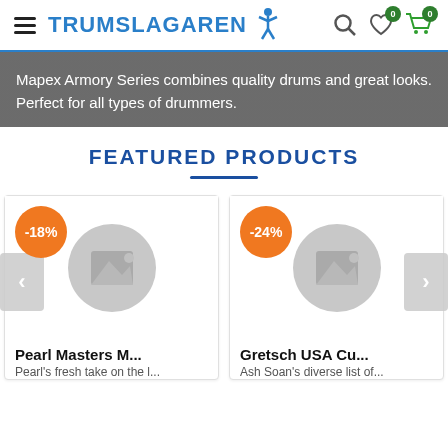TRUMSLAGAREN
Mapex Armory Series combines quality drums and great looks. Perfect for all types of drummers.
FEATURED PRODUCTS
[Figure (screenshot): Product card for Pearl Masters M... with -18% discount badge and placeholder image]
Pearl Masters M...
Pearl's fresh take on the l...
[Figure (screenshot): Product card for Gretsch USA Cu... with -24% discount badge and placeholder image]
Gretsch USA Cu...
Ash Soan's diverse list of...